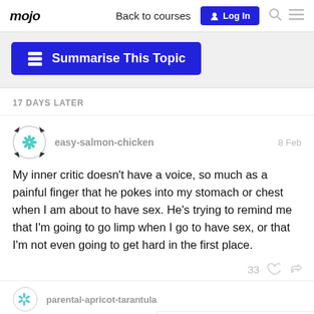mojo   Back to courses   Log In
[Figure (screenshot): Summarise This Topic button with blue background and stacked layers icon]
17 DAYS LATER
easy-salmon-chicken   8 Feb
My inner critic doesn't have a voice, so much as a painful finger that he pokes into my stomach or chest when I am about to have sex. He's trying to remind me that I'm going to go limp when I go to have sex, or that I'm not even going to get hard in the first place.
33   ♡   🔗
1 / 2060
parental-apricot-tarantula